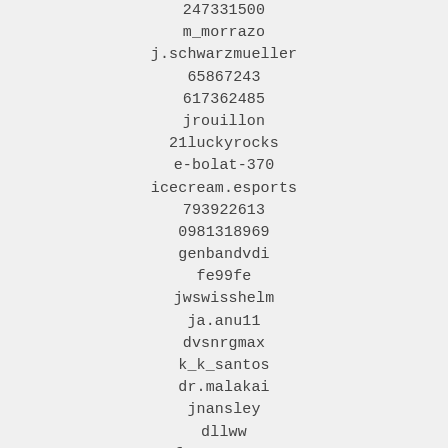247331500
m_morrazo
j.schwarzmueller
65867243
617362485
jrouillon
21luckyrocks
e-bolat-370
icecream.esports
793922613
0981318969
genbandvdi
fe99fe
jwswisshelm
ja.anu11
dvsnrgmax
k_k_santos
dr.malakai
jnansley
dllww
futuretown1
jb_k12
imaan41
kickasslucy
khechem_82